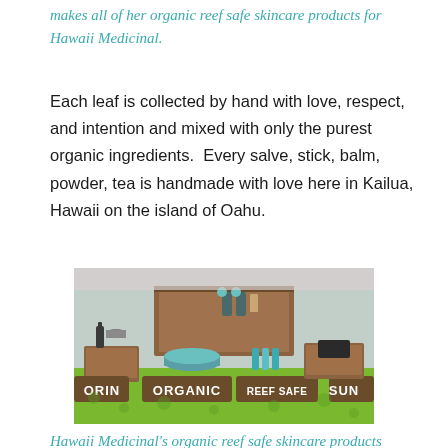makes all of her organic reef safe skincare products for Hawaii Medicinal.
Each leaf is collected by hand with love, respect, and intention and mixed with only the purest organic ingredients.  Every salve, stick, balm, powder, tea is handmade with love here in Kailua, Hawaii on the island of Oahu.
[Figure (photo): Display table with wooden signs reading ORGANIC, REEF SAFE, and SUN, along with various skincare product bottles and tins arranged on a patterned green tablecloth. A wooden shelf unit in the background holds additional products.]
Hawaii Medicinal's organic reef safe skincare products